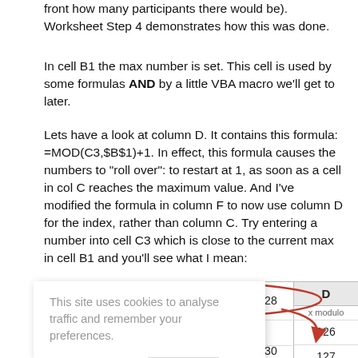front how many participants there would be). Worksheet Step 4 demonstrates how this was done.
In cell B1 the max number is set. This cell is used by some formulas AND by a little VBA macro we'll get to later.
Lets have a look at column D. It contains this formula: =MOD(C3,$B$1)+1. In effect, this formula causes the numbers to "roll over": to restart at 1, as soon as a cell in col C reaches the maximum value. And I've modified the formula in column F to now use column D for the index, rather than column C. Try entering a number into cell C3 which is close to the current max in cell B1 and you'll see what I mean:
[Figure (screenshot): Spreadsheet screenshot showing column D with header 'D', label 'x modulo', values 126, 127, 128, 129, 1, 2, and rows 6 and 7 with annotation 'Here we restart at 1' with red circle/arrow annotation. Cookie consent banner overlay reading 'This site uses cookies to analyse traffic and remember your preferences.' with LEARN MORE and CLOSE buttons.]